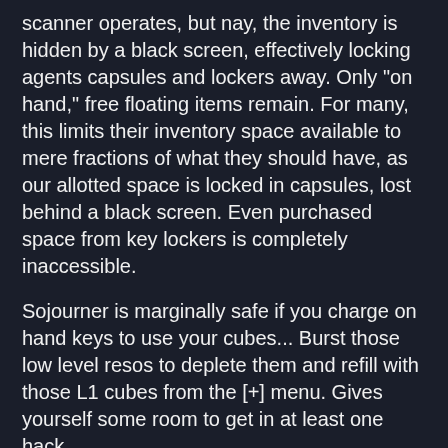scanner operates, but nay, the inventory is hidden by a black screen, effectively locking agents capsules and lockers away. Only "on hand," free floating items remain. For many, this limits their inventory space available to mere fractions of what they should have, as our allotted space is locked in capsules, lost behind a black screen. Even purchased space from key lockers is completely inaccessible.
Sojourner is marginally safe if you charge on hand keys to use your cubes... Burst those low level resos to deplete them and refill with those L1 cubes from the [+] menu. Gives yourself some room to get in at least one hack.
But one may only deploy so many resonators in a local area. Deploy as many mods as possible. Keys are being deleted before they can be linked. The decay doesn't go fast enough. Agents are slowly being paralyzed, suffocated, by the inventory glitch as we fill up what little open space we have and use as many on hand items as possible. It's only a matter of time.
We will not go softly into the night! Agents gather outside NIA doors, hoping for news, holding vigil while NIA programmers